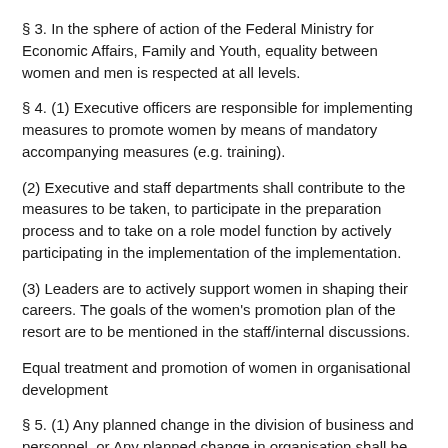§ 3. In the sphere of action of the Federal Ministry for Economic Affairs, Family and Youth, equality between women and men is respected at all levels.
§ 4. (1) Executive officers are responsible for implementing measures to promote women by means of mandatory accompanying measures (e.g. training).
(2) Executive and staff departments shall contribute to the measures to be taken, to participate in the preparation process and to take on a role model function by actively participating in the implementation of the implementation.
(3) Leaders are to actively support women in shaping their careers. The goals of the women's promotion plan of the resort are to be mentioned in the staff/internal discussions.
Equal treatment and promotion of women in organisational development
§ 5. (1) Any planned change in the division of business and personnel, or Any planned change in organisation shall be known to the Chairman or Chairman of the Working Party on Equal Treatment.